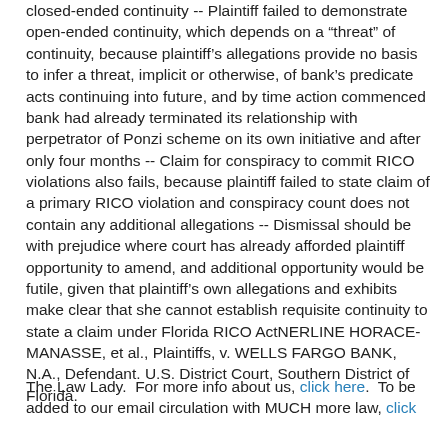closed-ended continuity -- Plaintiff failed to demonstrate open-ended continuity, which depends on a "threat" of continuity, because plaintiff's allegations provide no basis to infer a threat, implicit or otherwise, of bank's predicate acts continuing into future, and by time action commenced bank had already terminated its relationship with perpetrator of Ponzi scheme on its own initiative and after only four months -- Claim for conspiracy to commit RICO violations also fails, because plaintiff failed to state claim of a primary RICO violation and conspiracy count does not contain any additional allegations -- Dismissal should be with prejudice where court has already afforded plaintiff opportunity to amend, and additional opportunity would be futile, given that plaintiff's own allegations and exhibits make clear that she cannot establish requisite continuity to state a claim under Florida RICO ActNERLINE HORACE-MANASSE, et al., Plaintiffs, v. WELLS FARGO BANK, N.A., Defendant. U.S. District Court, Southern District of Florida.
The Law Lady.  For more info about us, click here.  To be added to our email circulation with MUCH more law, click